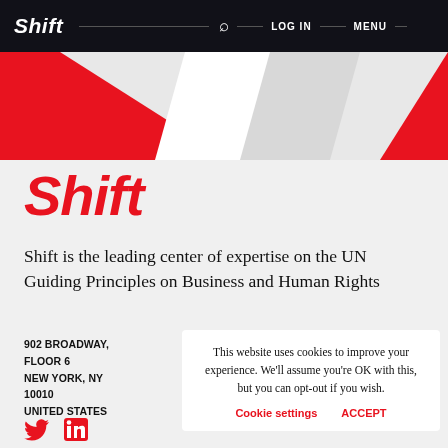Shift | LOG IN | MENU
[Figure (illustration): Hero banner with pink/red diagonal shapes on light gray background]
Shift
Shift is the leading center of expertise on the UN Guiding Principles on Business and Human Rights
902 BROADWAY, FLOOR 6
NEW YORK, NY 10010
UNITED STATES
This website uses cookies to improve your experience. We'll assume you're OK with this, but you can opt-out if you wish.
Cookie settings   ACCEPT